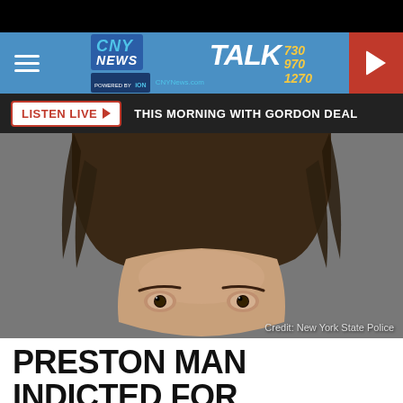CNY NEWS TALK 730 970 1270 - CNYNews.com
LISTEN LIVE ▶  THIS MORNING WITH GORDON DEAL
[Figure (photo): Mugshot photo of a person with long dark brown hair, showing from the top of the head to just below the eyes, against a gray background. Credit: New York State Police]
Credit: New York State Police
PRESTON MAN INDICTED FOR